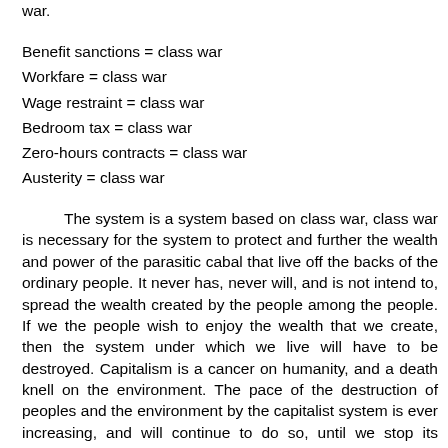war.
Benefit sanctions = class war
Workfare = class war
Wage restraint = class war
Bedroom tax = class war
Zero-hours contracts = class war
Austerity = class war
The system is a system based on class war, class war is necessary for the system to protect and further the wealth and power of the parasitic cabal that live off the backs of the ordinary people. It never has, never will, and is not intend to, spread the wealth created by the people among the people. If we the people wish to enjoy the wealth that we create, then the system under which we live will have to be destroyed. Capitalism is a cancer on humanity, and a death knell on the environment. The pace of the destruction of peoples and the environment by the capitalist system is ever increasing, and will continue to do so, until we stop its cancerous growth. It will not stop of its own accord, it will not stop because the parasites at the helm consider that they have enough. It will